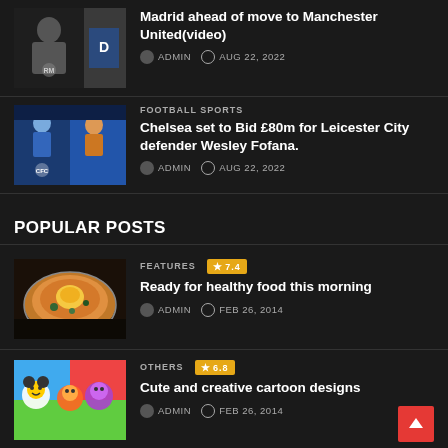[Figure (photo): Real Madrid press conference thumbnail]
Madrid ahead of move to Manchester United(video)
ADMIN  AUG 22, 2022
[Figure (photo): Chelsea and Leicester City players thumbnail]
FOOTBALL SPORTS
Chelsea set to Bid £80m for Leicester City defender Wesley Fofana.
ADMIN  AUG 22, 2022
POPULAR POSTS
[Figure (photo): Healthy food dish thumbnail]
FEATURES  ★ 7.4
Ready for healthy food this morning
ADMIN  FEB 26, 2014
[Figure (photo): Cartoon designs thumbnail]
OTHERS  ★ 6.8
Cute and creative cartoon designs
ADMIN  FEB 26, 2014